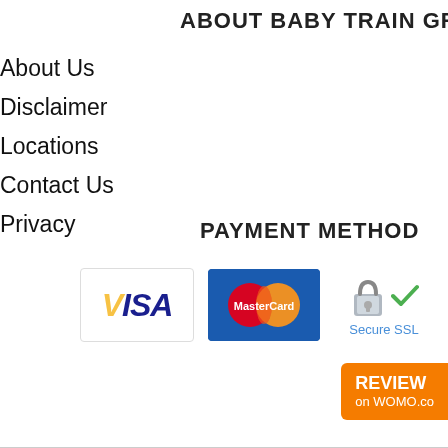ABOUT BABY TRAIN GROU
About Us
Disclaimer
Locations
Contact Us
Privacy
PAYMENT METHOD
[Figure (logo): VISA card logo, MasterCard logo, and Secure SSL badge with padlock icon and green checkmark]
[Figure (logo): REVIEW on WOMO.com orange badge button]